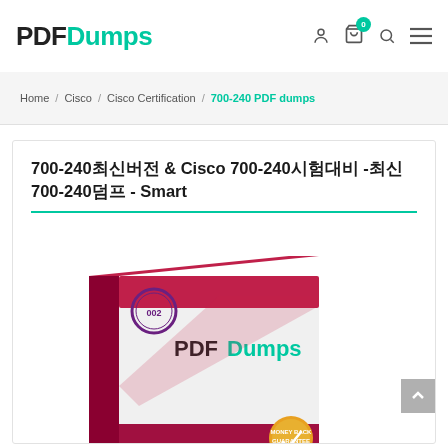PDFDumps
Home / Cisco / Cisco Certification / 700-240 PDF dumps
700-240최신버전 & Cisco 700-240시험대비 -최신 700-240덤프 - Smart
[Figure (photo): PDFDumps product box showing a red and white exam dumps book with PDFDumps logo and a money-back guarantee seal]